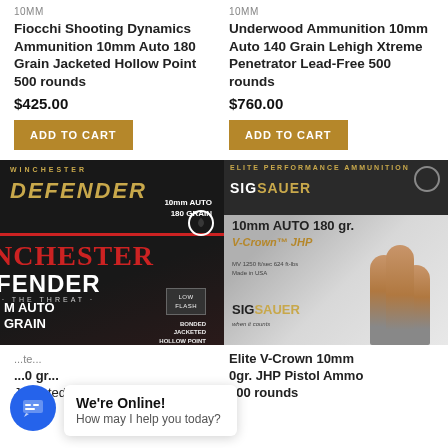10MM
10MM
Fiocchi Shooting Dynamics Ammunition 10mm Auto 180 Grain Jacketed Hollow Point 500 rounds
Underwood Ammunition 10mm Auto 140 Grain Lehigh Xtreme Penetrator Lead-Free 500 rounds
$425.00
$760.00
[Figure (photo): Winchester Defender 10mm Auto 180 Grain Bonded Jacketed Hollow Point ammunition box]
[Figure (photo): SIG Sauer Elite Performance 10mm Auto 180 grain V-Crown JHP pistol ammo box with bullets]
Winchester Defender 10mm Auto 180 gr. Jacketed Hollow Point 500
SIG Sauer Elite V-Crown 10mm 0gr. JHP Pistol Ammo 500 rounds
We're Online! How may I help you today?